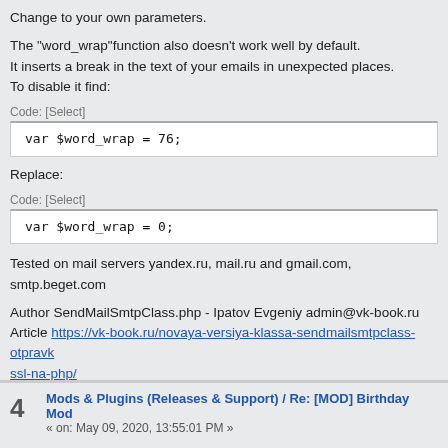Change to your own parameters.
The "word_wrap"function also doesn't work well by default.
It inserts a break in the text of your emails in unexpected places.
To disable it find:
Code: [Select]
Replace:
Code: [Select]
Tested on mail servers yandex.ru, mail.ru and gmail.com, smtp.beget.com
Author SendMailSmtpClass.php - Ipatov Evgeniy admin@vk-book.ru
Article https://vk-book.ru/novaya-versiya-klassa-sendmailsmtpclass-otpravk ssl-na-php/
This project on github - https://github.com/Ipatov/SendMailSmtpClass
By default, emails are sent as text, but the class supports sending in html fo
Good luck! 🙂
4  Mods & Plugins (Releases & Support) / Re: [MOD] Birthday Mod
« on: May 09, 2020, 13:55:01 PM »